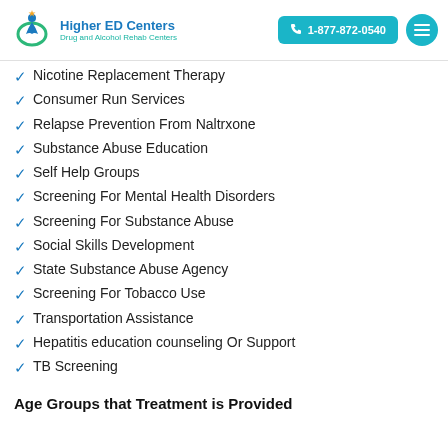[Figure (logo): Higher ED Centers logo with person figure and green circle, alongside text 'Higher ED Centers - Drug and Alcohol Rehab Centers', a teal phone button showing '1-877-872-0540', and a teal circular menu button]
Nicotine Replacement Therapy
Consumer Run Services
Relapse Prevention From Naltrxone
Substance Abuse Education
Self Help Groups
Screening For Mental Health Disorders
Screening For Substance Abuse
Social Skills Development
State Substance Abuse Agency
Screening For Tobacco Use
Transportation Assistance
Hepatitis education counseling Or Support
TB Screening
Age Groups that Treatment is Provided